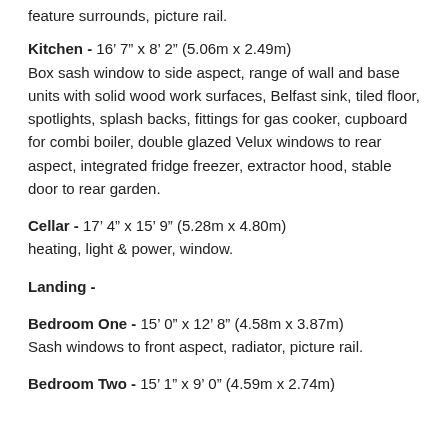feature surrounds, picture rail.
Kitchen - 16' 7" x 8' 2" (5.06m x 2.49m)
Box sash window to side aspect, range of wall and base units with solid wood work surfaces, Belfast sink, tiled floor, spotlights, splash backs, fittings for gas cooker, cupboard for combi boiler, double glazed Velux windows to rear aspect, integrated fridge freezer, extractor hood, stable door to rear garden.
Cellar - 17' 4" x 15' 9" (5.28m x 4.80m)
heating, light & power, window.
Landing -
Bedroom One - 15' 0" x 12' 8" (4.58m x 3.87m)
Sash windows to front aspect, radiator, picture rail.
Bedroom Two - 15' 1" x 9' 0" (4.59m x 2.74m)